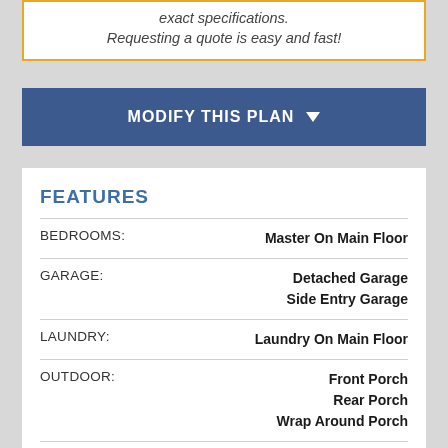exact specifications.
Requesting a quote is easy and fast!
MODIFY THIS PLAN ▼
FEATURES
| Feature | Value |
| --- | --- |
| BEDROOMS: | Master On Main Floor |
| GARAGE: | Detached Garage
Side Entry Garage |
| LAUNDRY: | Laundry On Main Floor |
| OUTDOOR: | Front Porch
Rear Porch
Wrap Around Porch |